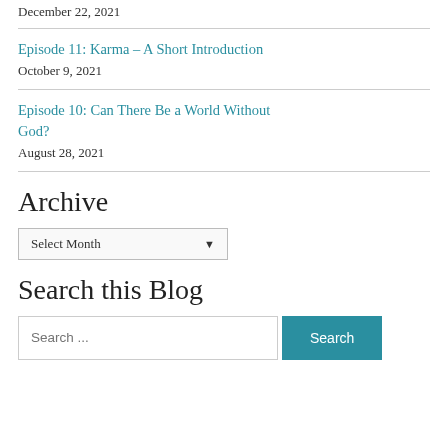December 22, 2021
Episode 11: Karma – A Short Introduction
October 9, 2021
Episode 10: Can There Be a World Without God?
August 28, 2021
Archive
Select Month
Search this Blog
Search ...